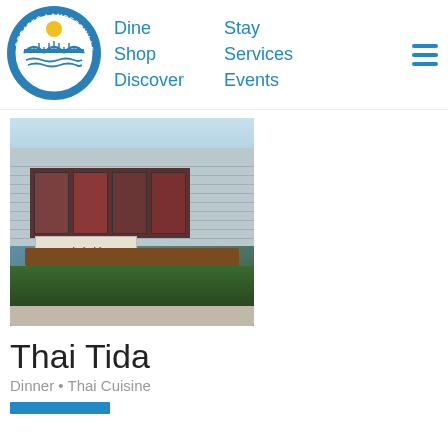[Figure (logo): Greater Lambertville Chamber of Commerce circular seal logo with bridge and sun]
Dine  Shop  Discover  Stay  Services  Events
[Figure (photo): Exterior photo of Thai Tida restaurant building with sign, flower boxes, and landscaping]
Thai Tida
Dinner • Thai Cuisine